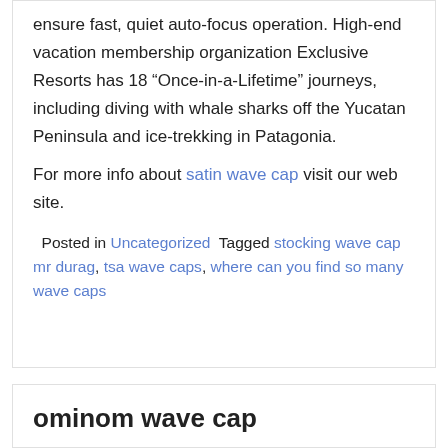ensure fast, quiet auto-focus operation. High-end vacation membership organization Exclusive Resorts has 18 “Once-in-a-Lifetime” journeys, including diving with whale sharks off the Yucatan Peninsula and ice-trekking in Patagonia.
For more info about satin wave cap visit our web site.
Posted in Uncategorized  Tagged stocking wave cap mr durag, tsa wave caps, where can you find so many wave caps
ominom wave cap